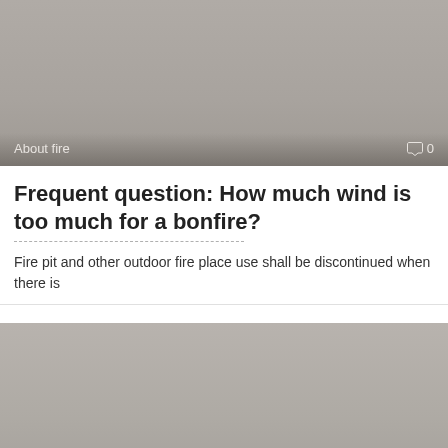[Figure (photo): Gray placeholder image for article thumbnail with 'About fire' label and comment count 0 at the bottom]
Frequent question: How much wind is too much for a bonfire?
Fire pit and other outdoor fire place use shall be discontinued when there is
[Figure (photo): Gray placeholder image for second article thumbnail with 'About fire' label and comment count 0 at the bottom]
A question for fire about fire?